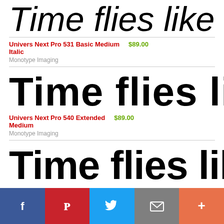[Figure (illustration): Large italic font preview text 'Time flies like an a' cropped at right edge]
Univers Next Pro 531 Basic Medium Italic   $89.00
Monotype Imaging
[Figure (illustration): Large bold font preview text 'Time flies like a' cropped at right edge]
Univers Next Pro 540 Extended Medium   $89.00
Monotype Imaging
[Figure (illustration): Large bold condensed font preview text 'Time flies like a' cropped at right edge]
Univers Next Pro 540 Extended   $99.00